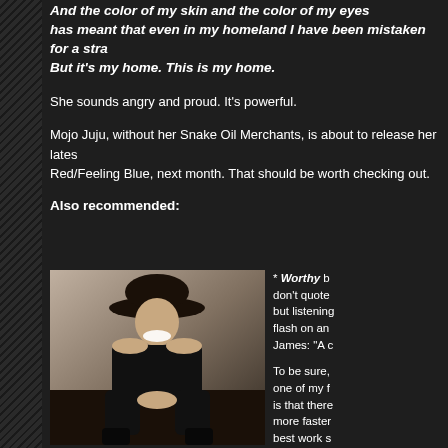And the color of my skin and the color of my eyes has meant that even in my homeland I have been mistaken for a stranger. But it's my home. This is my home.
She sounds angry and proud. It's powerful.
Mojo Juju, without her Snake Oil Merchants, is about to release her latest Red/Feeling Blue, next month. That should be worth checking out.
Also recommended:
[Figure (photo): Black and white photo of a woman in a wide-brimmed hat and off-shoulder black outfit, sitting and smiling broadly]
* Worthy b don't quote but listening flash on an James: "A c To be sure, one of my f is that there more faster best work s the soul run